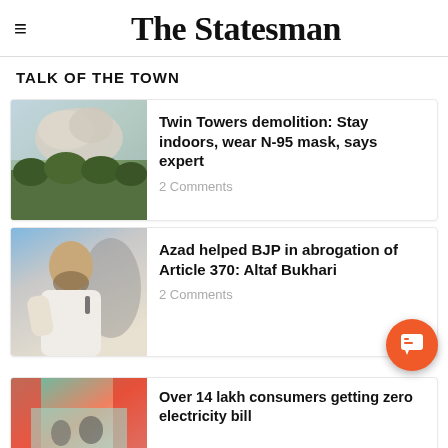The Statesman
TALK OF THE TOWN
[Figure (photo): Dust cloud from Twin Towers demolition with trees in foreground]
Twin Towers demolition: Stay indoors, wear N-95 mask, says expert
2 Comments
[Figure (photo): Man speaking at a political event, identified as Altaf Bukhari]
Azad helped BJP in abrogation of Article 370: Altaf Bukhari
2 Comments
[Figure (photo): Partial image related to electricity bill story]
Over 14 lakh consumers getting zero electricity bill